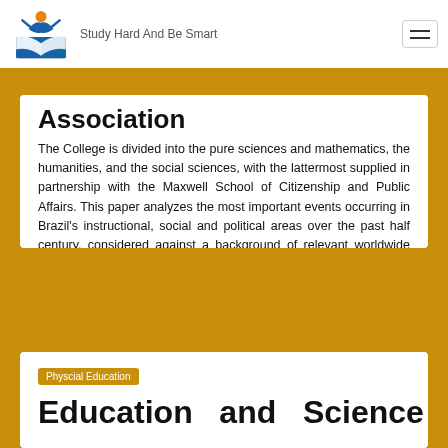Study Hard And Be Smart
Association
The College is divided into the pure sciences and mathematics, the humanities, and the social sciences, with the lattermost supplied in partnership with the Maxwell School of Citizenship and Public Affairs. This paper analyzes the most important events occurring in Brazil's instructional, social and political areas over the past half century, considered against a background of relevant worldwide events. The hypothesis offered here is that the relations between the country's instructional policies, the demands of the assorted segments …
Read More
Physcial Education
Education and Science